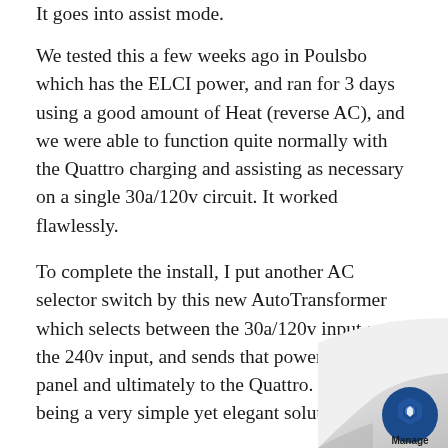It goes into assist mode.
We tested this a few weeks ago in Poulsbo which has the ELCI power, and ran for 3 days using a good amount of Heat (reverse AC), and we were able to function quite normally with the Quattro charging and assisting as necessary on a single 30a/120v circuit. It worked flawlessly.
To complete the install, I put another AC selector switch by this new AutoTransformer which selects between the 30a/120v input and the 240v input, and sends that power up to panel and ultimately to the Quattro. This ended up being a very simple yet elegant solution for our need.